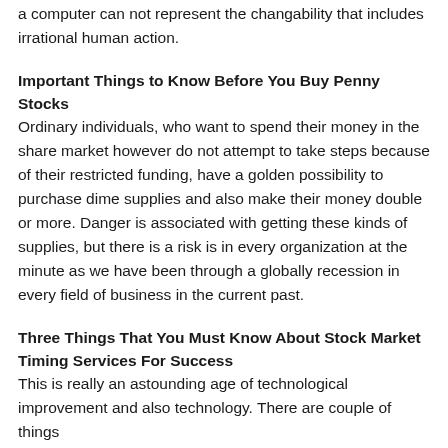a computer can not represent the changability that includes irrational human action.
Important Things to Know Before You Buy Penny Stocks
Ordinary individuals, who want to spend their money in the share market however do not attempt to take steps because of their restricted funding, have a golden possibility to purchase dime supplies and also make their money double or more. Danger is associated with getting these kinds of supplies, but there is a risk is in every organization at the minute as we have been through a globally recession in every field of business in the current past.
Three Things That You Must Know About Stock Market Timing Services For Success
This is really an astounding age of technological improvement and also technology. There are couple of things